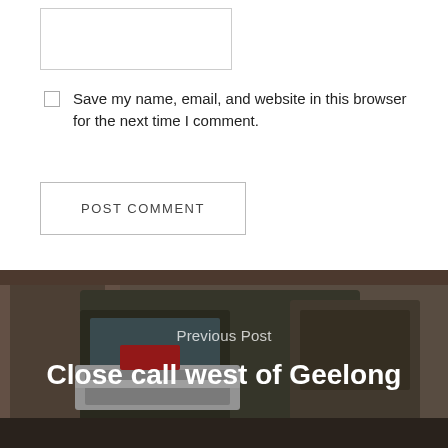[Figure (other): Empty text input box (form field)]
Save my name, email, and website in this browser for the next time I comment.
POST COMMENT
[Figure (photo): A fire truck parked in a garage/workshop setting, viewed from the front-left angle. The image is used as a navigation banner background.]
Previous Post
Close call west of Geelong